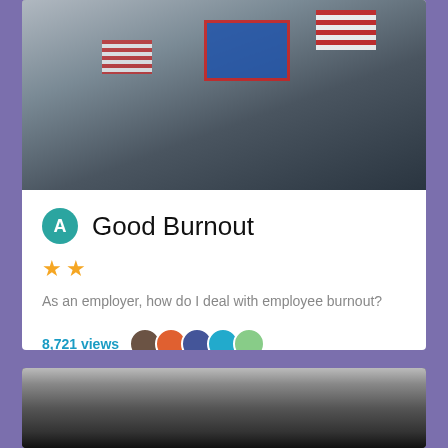[Figure (photo): Outdoor event with flags including Wyoming state flag and US flags, crowd with cameras and banners]
Good Burnout
★★
As an employer, how do I deal with employee burnout?
8,721 views
[Figure (illustration): Black and white engraving of a large kraken/octopus attacking a sailing ship on stormy seas]